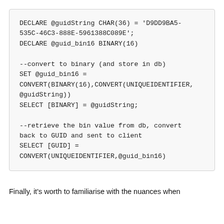[Figure (other): Code block containing SQL statements for GUID/binary conversion]
Finally, it's worth to familiarise with the nuances when converting between the uniqueidentifier and binary